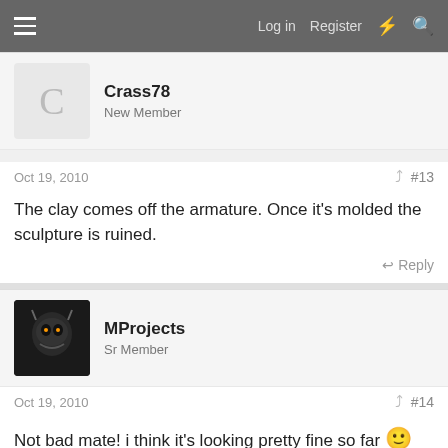Log in  Register
Crass78
New Member
Oct 19, 2010  #13
The clay comes off the armature. Once it's molded the sculpture is ruined.
Reply
MProjects
Sr Member
Oct 19, 2010  #14
Not bad mate! i think it's looking pretty fine so far 🙂
Reply